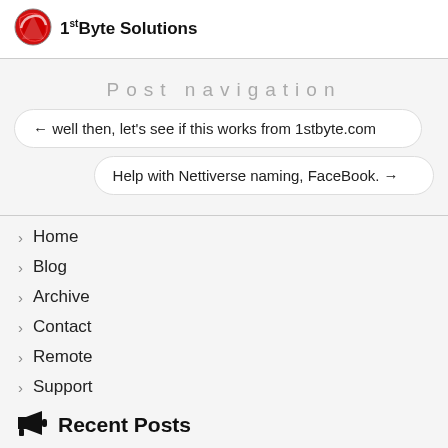1st Byte Solutions
Post navigation
← well then, let's see if this works from 1stbyte.com
Help with Nettiverse naming, FaceBook. →
Home
Blog
Archive
Contact
Remote
Support
Recent Posts
Encrypt your ZFS home directory in Ubuntu 20.04